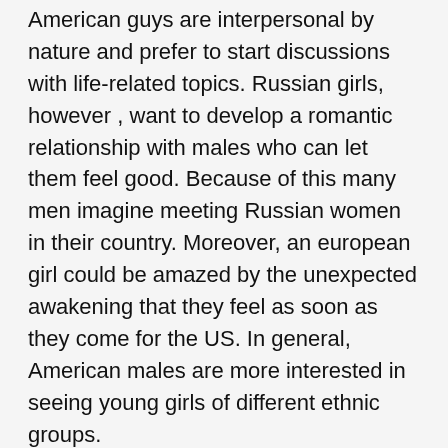American guys are interpersonal by nature and prefer to start discussions with life-related topics. Russian girls, however , want to develop a romantic relationship with males who can let them feel good. Because of this many men imagine meeting Russian women in their country. Moreover, an european girl could be amazed by the unexpected awakening that they feel as soon as they come for the US. In general, American males are more interested in seeing young girls of different ethnic groups.
In terms of way of life, you should be open to different ways of thinking and acting. For instance, Russian young girls are fond of sweets and will probably tell you where you can find the very best Korovka. The block of milky caramel is truly a heavenly gift. You can also request her where you can find the best Medovik torte or Golubtsy, which are both prominent in Spain.